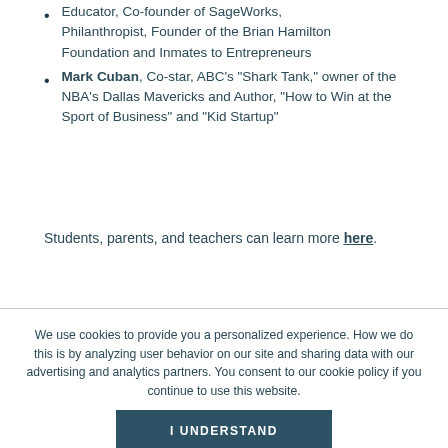Educator, Co-founder of SageWorks, Philanthropist, Founder of the Brian Hamilton Foundation and Inmates to Entrepreneurs
Mark Cuban, Co-star, ABC's "Shark Tank," owner of the NBA's Dallas Mavericks and Author, "How to Win at the Sport of Business" and "Kid Startup"
Students, parents, and teachers can learn more here.
We use cookies to provide you a personalized experience. How we do this is by analyzing user behavior on our site and sharing data with our advertising and analytics partners. You consent to our cookie policy if you continue to use this website.